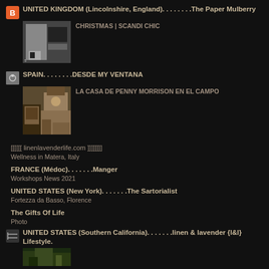UNITED KINGDOM (Lincolnshire, England). . . . . . . .The Paper Mulberry
[Figure (photo): Thumbnail of a room interior with black and white decor]
CHRISTMAS | SCANDI CHIC
SPAIN. . . . . . . .DESDE MY VENTANA
[Figure (photo): Thumbnail of an ornate room with fireplace and floral arrangements]
LA CASA DE PENNY MORRISON EN EL CAMPO
[[[[[[[ linenlavenderlife.com ]]]]]]]
Wellness in Matera, Italy
FRANCE (Médoc). . . . . . .Manger
Workshops News 2021
UNITED STATES (New York). . . . . . .The Sartorialist
Fortezza da Basso, Florence
The Gifts Of Life
Photo
UNITED STATES (Southern California). . . . . . .linen & lavender {l&l} Lifestyle.
[Figure (photo): Partial thumbnail of a dark green outdoor scene]